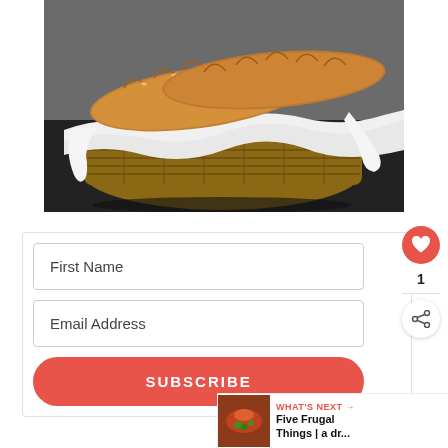[Figure (photo): Two baguettes resting in a wicker basket lined with a white cloth, on a dark surface with grey background]
First Name
Email Address
SUBSCRIBE
WHAT'S NEXT → Five Frugal Things | a dr...